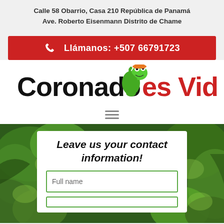Calle 58 Obarrio, Casa 210 República de Panamá
Ave. Roberto Eisenmann Distrito de Chame
Llámanos: +507 66791723
[Figure (logo): Coronado es Vida logo with green cartoon frog character wearing orange hat]
[Figure (infographic): Contact form on forest background with fields for full name and other info, title reads: Leave us your contact information!]